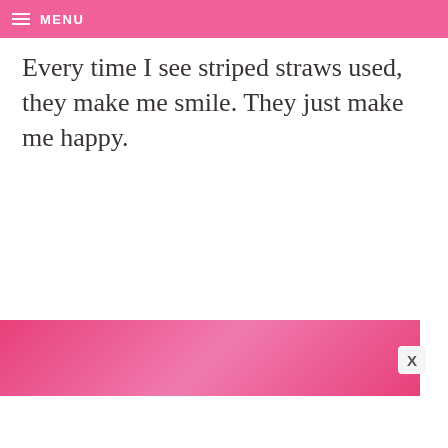MENU
Every time I see striped straws used, they make me smile. They just make me happy.